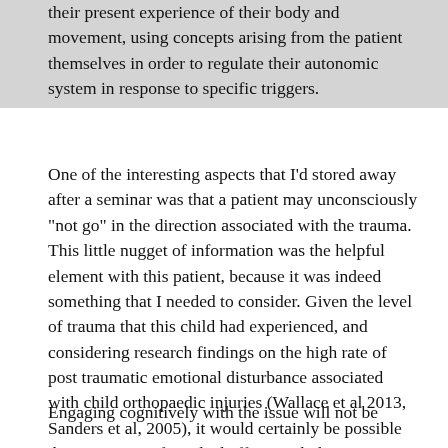their present experience of their body and movement, using concepts arising from the patient themselves in order to regulate their autonomic system in response to specific triggers.
One of the interesting aspects that I'd stored away after a seminar was that a patient may unconsciously "not go" in the direction associated with the trauma. This little nugget of information was the helpful element with this patient, because it was indeed something that I needed to consider. Given the level of trauma that this child had experienced, and considering research findings on the high rate of post traumatic emotional disturbance associated with child orthopaedic injuries (Wallace et al 2013, Sanders et al, 2005), it would certainly be possible that some sort of residual effect might be present.
Engaging cognitively with the issue will not be